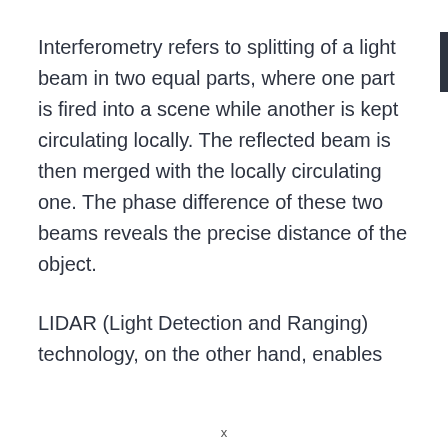Interferometry refers to splitting of a light beam in two equal parts, where one part is fired into a scene while another is kept circulating locally. The reflected beam is then merged with the locally circulating one. The phase difference of these two beams reveals the precise distance of the object.
LIDAR (Light Detection and Ranging) technology, on the other hand, enables